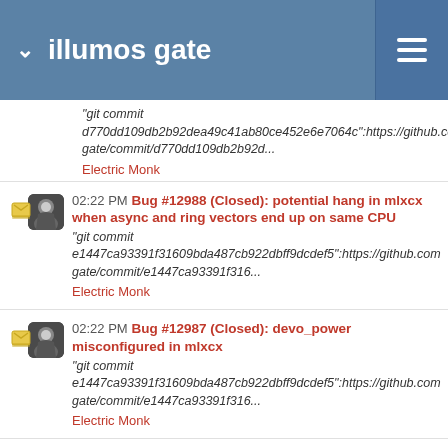illumos gate
"git commit d770dd109db2b92dea49c41ab80ce452e6e7064c":https://github.co gate/commit/d770dd109db2b92d...
Electric Monk
02:22 PM Bug #12988 (Closed): potential hang in mlxcx when async and ring vectors end up on same CPU
"git commit e1447ca93391f31609bda487cb922dbff9dcdef5":https://github.com gate/commit/e1447ca93391f316...
Electric Monk
02:22 PM Bug #12987 (Closed): devo_power misconfigured in mlxcx
"git commit e1447ca93391f31609bda487cb922dbff9dcdef5":https://github.com gate/commit/e1447ca93391f316...
Electric Monk
02:22 PM Bug #12980 (Closed): attempting to change